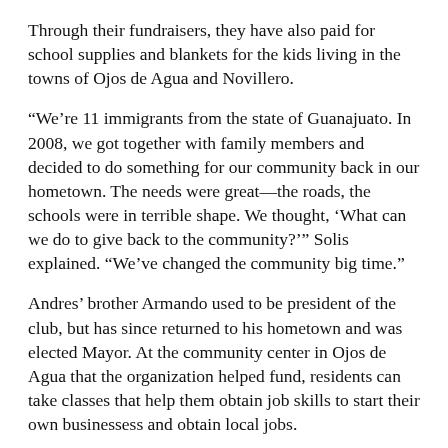Through their fundraisers, they have also paid for school supplies and blankets for the kids living in the towns of Ojos de Agua and Novillero.
“We’re 11 immigrants from the state of Guanajuato. In 2008, we got together with family members and decided to do something for our community back in our hometown. The needs were great—the roads, the schools were in terrible shape. We thought, ‘What can we do to give back to the community?’” Solis explained. “We’ve changed the community big time.”
Andres’ brother Armando used to be president of the club, but has since returned to his hometown and was elected Mayor. At the community center in Ojos de Agua that the organization helped fund, residents can take classes that help them obtain job skills to start their own businessess and obtain local jobs.
“In the community center we built, we have trade courses like how to fix cars and how to cook,” Solis said. “I know of one person who started their own business because of the classes